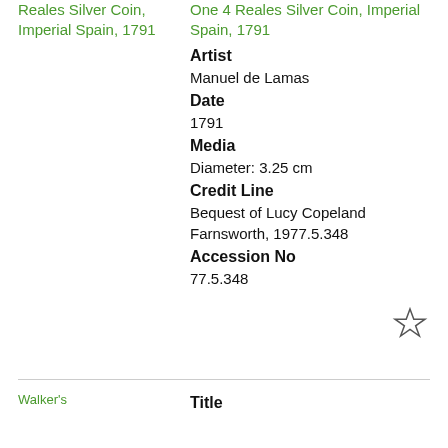Reales Silver Coin, Imperial Spain, 1791
One 4 Reales Silver Coin, Imperial Spain, 1791
Artist
Manuel de Lamas
Date
1791
Media
Diameter: 3.25 cm
Credit Line
Bequest of Lucy Copeland Farnsworth, 1977.5.348
Accession No
77.5.348
Title